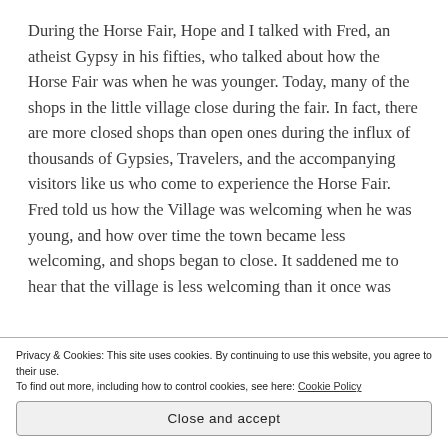During the Horse Fair, Hope and I talked with Fred, an atheist Gypsy in his fifties, who talked about how the Horse Fair was when he was younger. Today, many of the shops in the little village close during the fair. In fact, there are more closed shops than open ones during the influx of thousands of Gypsies, Travelers, and the accompanying visitors like us who come to experience the Horse Fair. Fred told us how the Village was welcoming when he was young, and how over time the town became less welcoming, and shops began to close. It saddened me to hear that the village is less welcoming than it once was
Privacy & Cookies: This site uses cookies. By continuing to use this website, you agree to their use.
To find out more, including how to control cookies, see here: Cookie Policy
Close and accept